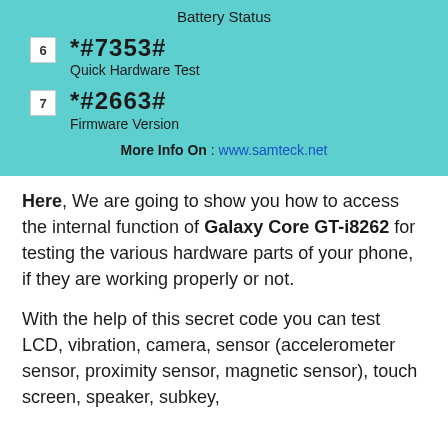[Figure (infographic): Teal/cyan background box showing two secret codes: item 6 *#7353# Quick Hardware Test, item 7 *#2663# Firmware Version, with 'More Info On : www.samteck.net' at the bottom]
Here, We are going to show you how to access the internal function of Galaxy Core GT-i8262 for testing the various hardware parts of your phone, if they are working properly or not.
With the help of this secret code you can test LCD, vibration, camera, sensor (accelerometer sensor, proximity sensor, magnetic sensor), touch screen, speaker, subkey,